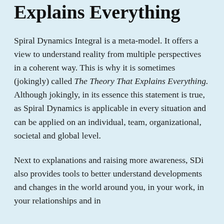Explains Everything
Spiral Dynamics Integral is a meta-model. It offers a view to understand reality from multiple perspectives in a coherent way. This is why it is sometimes (jokingly) called The Theory That Explains Everything. Although jokingly, in its essence this statement is true, as Spiral Dynamics is applicable in every situation and can be applied on an individual, team, organizational, societal and global level.
Next to explanations and raising more awareness, SDi also provides tools to better understand developments and changes in the world around you, in your work, in your relationships and in